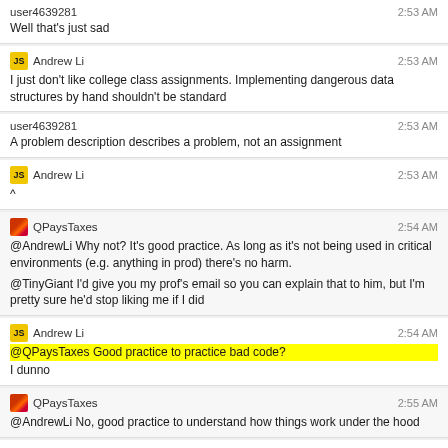user4639281 — 2:53 AM
Well that's just sad
Andrew Li — 2:53 AM
I just don't like college class assignments. Implementing dangerous data structures by hand shouldn't be standard
user4639281 — 2:53 AM
A problem description describes a problem, not an assignment
Andrew Li — 2:53 AM
^
QPaysTaxes — 2:54 AM
@AndrewLi Why not? It's good practice. As long as it's not being used in critical environments (e.g. anything in prod) there's no harm.
@TinyGiant I'd give you my prof's email so you can explain that to him, but I'm pretty sure he'd stop liking me if I did
Andrew Li — 2:54 AM
@QPaysTaxes Good practice to practice bad code?
I dunno
QPaysTaxes — 2:55 AM
@AndrewLi No, good practice to understand how things work under the hood
user4639281 — 2:55 AM
Doing stupid things teaches you a lot if you know that what you're doing is stupid. If you think that what you're doing is smart, then you don't learn anything good.